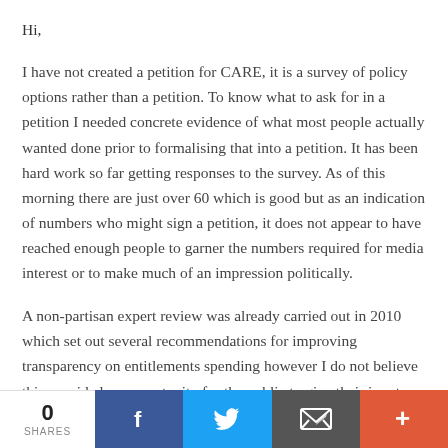Hi,
I have not created a petition for CARE, it is a survey of policy options rather than a petition. To know what to ask for in a petition I needed concrete evidence of what most people actually wanted done prior to formalising that into a petition. It has been hard work so far getting responses to the survey. As of this morning there are just over 60 which is good but as an indication of numbers who might sign a petition, it does not appear to have reached enough people to garner the numbers required for media interest or to make much of an impression politically.
A non-partisan expert review was already carried out in 2010 which set out several recommendations for improving transparency on entitlements spending however I do not believe this provided an opportunity for the public to give their input and as it was not a news topic at the time, the Labor
0 SHARES  [Facebook] [Twitter] [Email] [+]